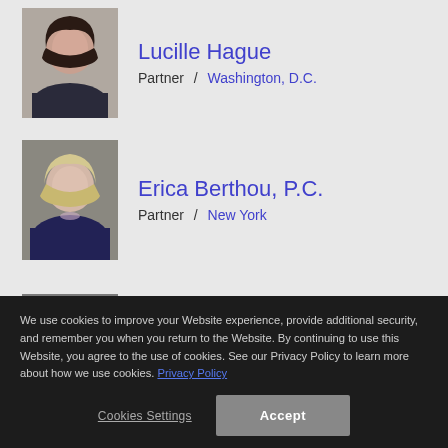[Figure (photo): Headshot of Lucille Hague, woman with dark brown hair, dark top, light background]
Lucille Hague
Partner / Washington, D.C.
[Figure (photo): Headshot of Erica Berthou, P.C., woman with blonde hair, dark jacket, pearl necklace]
Erica Berthou, P.C.
Partner / New York
[Figure (photo): Headshot of Carrie M. VanFleet, P.C., woman with short dark hair, gray background]
Carrie M. VanFleet, P.C.
We use cookies to improve your Website experience, provide additional security, and remember you when you return to the Website. By continuing to use this Website, you agree to the use of cookies. See our Privacy Policy to learn more about how we use cookies. Privacy Policy
Cookies Settings
Accept